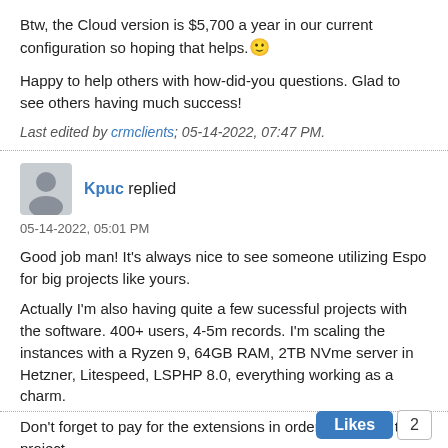Btw, the Cloud version is $5,700 a year in our current configuration so hoping that helps. 🙂
Happy to help others with how-did-you questions. Glad to see others having much success!
Last edited by crmclients; 05-14-2022, 07:47 PM.
Kpuc replied
05-14-2022, 05:01 PM
Good job man! It's always nice to see someone utilizing Espo for big projects like yours.
Actually I'm also having quite a few sucessful projects with the software. 400+ users, 4-5m records. I'm scaling the instances with a Ryzen 9, 64GB RAM, 2TB NVme server in Hetzner, Litespeed, LSPHP 8.0, everything working as a charm.
Don't forget to pay for the extensions in order to support the project.
Likes 2